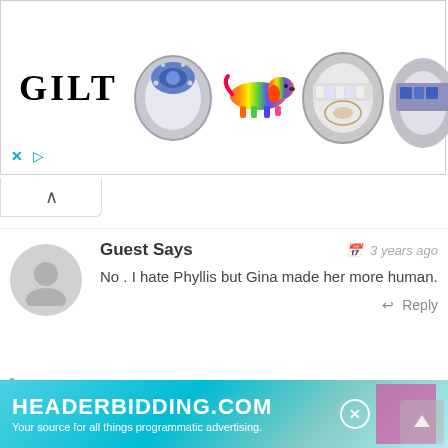[Figure (screenshot): Gilt jewelry advertisement banner showing logo and product images of rings and a dachshund figurine]
[Figure (screenshot): Collapse/minimize button with upward caret]
Guest Says
3 years ago
No . I hate Phyllis but Gina made her more human.
Reply
Guest Says
3 years a
[Figure (screenshot): HEADERBIDDING.COM advertisement banner — Your source for all things programmatic advertising.]